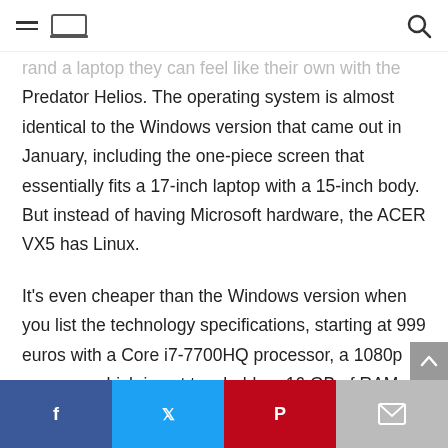[hamburger menu] [laptop icon] [search icon]
...find a laptop they can feel like their own with the Predator Helios. The operating system is almost identical to the Windows version that came out in January, including the one-piece screen that essentially fits a 17-inch laptop with a 15-inch body. But instead of having Microsoft hardware, the ACER VX5 has Linux.
It's even cheaper than the Windows version when you list the technology specifications, starting at 999 euros with a Core i7-7700HQ processor, a 1080p screen – which is not touchable – 16 GB of RAM and 512 GB of solid state storage (SSD).
[Facebook] [Twitter] [Pinterest] [Email]